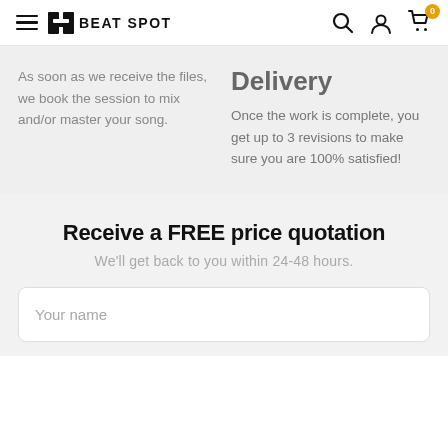BEAT SPOT — Navigation header with search, account, and cart icons
As soon as we receive the files, we book the session to mix and/or master your song.
Delivery
Once the work is complete, you get up to 3 revisions to make sure you are 100% satisfied!
Receive a FREE price quotation
We'll get back to you within 24-48 hours.
Your name